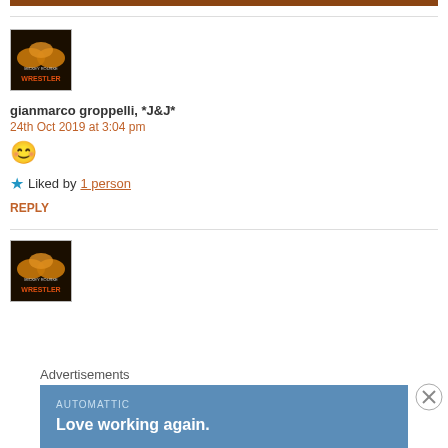[Figure (other): Brown decorative bar at top of page]
[Figure (photo): Movie poster thumbnail for 'The Wrestler' featuring Mickey Rourke]
gianmarco groppelli, *J&J*
24th Oct 2019 at 3:04 pm
😊
★ Liked by 1 person
REPLY
[Figure (photo): Second movie poster thumbnail for 'The Wrestler']
Advertisements
[Figure (other): Automattic advertisement banner reading 'Love working again.']